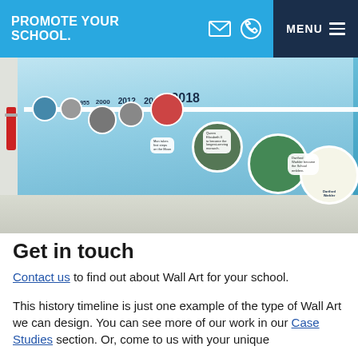PROMOTE YOUR SCHOOL.
[Figure (photo): A school corridor wall displaying a large printed history timeline mural with dates including 1953, 1955, 2000, 2012, 2015, 2018, circular photo vignettes of historical figures and events, and descriptive text bubbles. A red fire extinguisher is visible on the left wall.]
Get in touch
Contact us to find out about Wall Art for your school.
This history timeline is just one example of the type of Wall Art we can design. You can see more of our work in our Case Studies section. Or, come to us with your unique